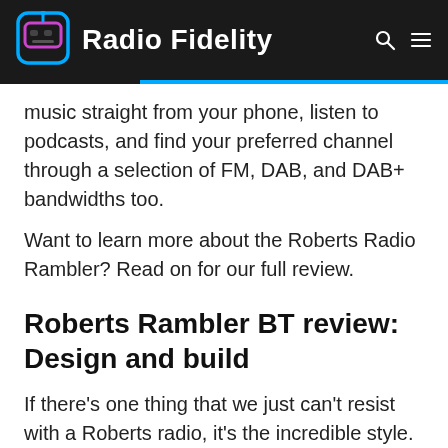Radio Fidelity
music straight from your phone, listen to podcasts, and find your preferred channel through a selection of FM, DAB, and DAB+ bandwidths too.
Want to learn more about the Roberts Radio Rambler? Read on for our full review.
Roberts Rambler BT review: Design and build
If there's one thing that we just can't resist with a Roberts radio, it's the incredible style. These products are made to not only sound incredible but look amazing too.
If you're a fan of the Roberts Revival (like we are)